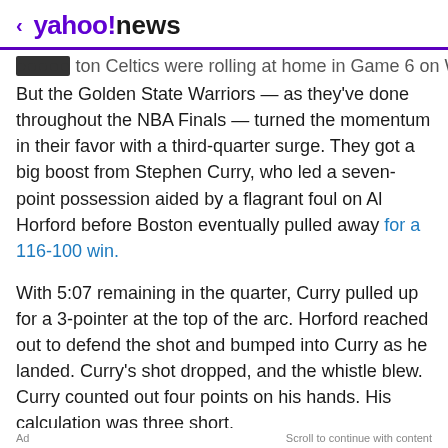< yahoo!news
ton Celtics were rolling at home in Game 6 on Wednesday.
But the Golden State Warriors — as they've done throughout the NBA Finals — turned the momentum in their favor with a third-quarter surge. They got a big boost from Stephen Curry, who led a seven-point possession aided by a flagrant foul on Al Horford before Boston eventually pulled away for a 116-100 win.
With 5:07 remaining in the quarter, Curry pulled up for a 3-pointer at the top of the arc. Horford reached out to defend the shot and bumped into Curry as he landed. Curry's shot dropped, and the whistle blew. Curry counted out four points on his hands. His calculation was three short.
Ad    Scroll to continue with content